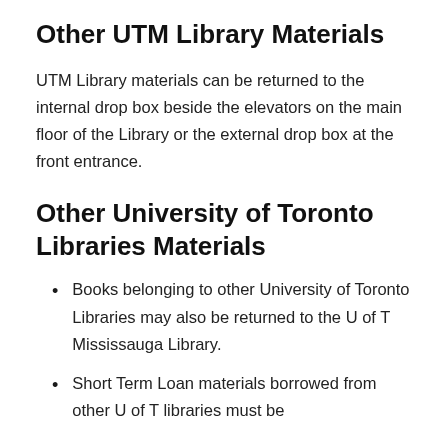Other UTM Library Materials
UTM Library materials can be returned to the internal drop box beside the elevators on the main floor of the Library or the external drop box at the front entrance.
Other University of Toronto Libraries Materials
Books belonging to other University of Toronto Libraries may also be returned to the U of T Mississauga Library.
Short Term Loan materials borrowed from other U of T libraries must be